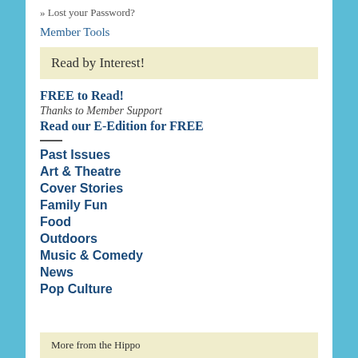» Lost your Password?
Member Tools
Read by Interest!
FREE to Read!
Thanks to Member Support
Read our E-Edition for FREE
Past Issues
Art & Theatre
Cover Stories
Family Fun
Food
Outdoors
Music & Comedy
News
Pop Culture
More from the Hippo